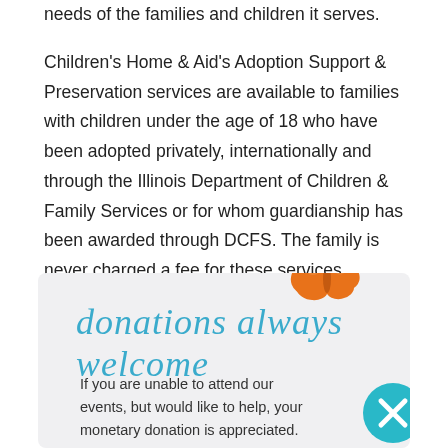needs of the families and children it serves.
Children's Home & Aid's Adoption Support & Preservation services are available to families with children under the age of 18 who have been adopted privately, internationally and through the Illinois Department of Children & Family Services or for whom guardianship has been awarded through DCFS. The family is never charged a fee for these services.
[Figure (illustration): Orange butterfly logo in top right corner of donation box]
donations always welcome
If you are unable to attend our events, but would like to help, your monetary donation is appreciated.
[Figure (illustration): Teal circle with white X close button]